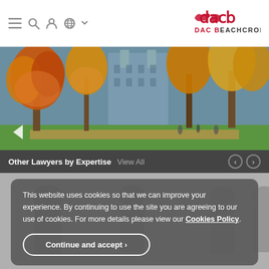[Figure (logo): DAC Beachcroft law firm logo with stylized red symbol and bold text]
[Figure (photo): Autumn park scene with orange and yellow trees, green lawn, historic building in background]
Other Lawyers by Expertise  View All
[Figure (photo): Greyscale background image of people]
This website uses cookies so that we can improve your experience. By continuing to use the site you are agreeing to our use of cookies. For more details please view our Cookies Policy.
Continue and accept ›